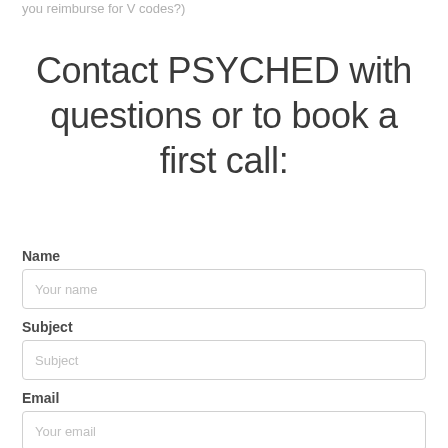you reimburse for V codes?)
Contact PSYCHED with questions or to book a first call:
Name
Your name
Subject
Subject
Email
Your email